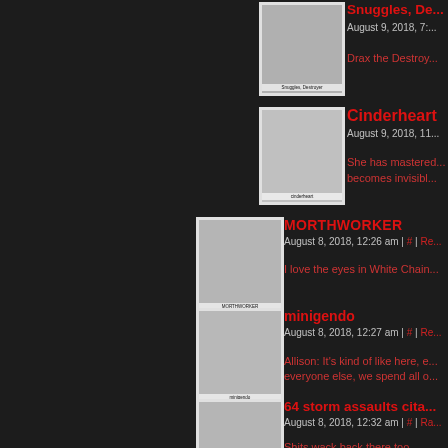[Figure (photo): Avatar for Snuggles, Destroyer - gray polaroid-style image]
Snuggles, De...
August 9, 2018, 7:...
Drax the Destroy...
[Figure (photo): Avatar for Cinderheart - gray polaroid-style image]
Cinderheart
August 9, 2018, 11...
She has mastered... becomes invisibl...
[Figure (photo): Avatar for MORTHWORKER - gray polaroid-style image]
MORTHWORKER
August 8, 2018, 12:26 am | # | Re...
I love the eyes in White Chain...
[Figure (photo): Avatar for minigendo - gray polaroid-style image]
minigendo
August 8, 2018, 12:27 am | # | Re...
Allison: It's kind of like here, e... everyone else, we spend all o...
[Figure (photo): Avatar for 64 storm assaults cita... - gray polaroid-style image]
64 storm assaults cita...
August 8, 2018, 12:32 am | # | Ra...
Shits wack back there too
[Figure (photo): Partially visible avatar at bottom]